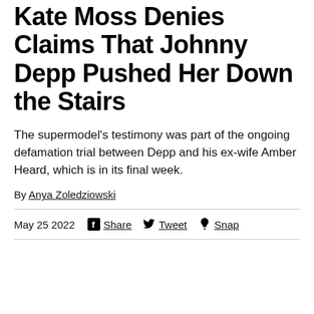Kate Moss Denies Claims That Johnny Depp Pushed Her Down the Stairs
The supermodel's testimony was part of the ongoing defamation trial between Depp and his ex-wife Amber Heard, which is in its final week.
By Anya Zoledziowski
May 25 2022  Share  Tweet  Snap